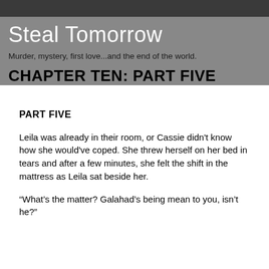Steal Tomorrow
Murder, mystery, first love...and the end of the world.
CHAPTER TEN: PART FIVE
PART FIVE
Leila was already in their room, or Cassie didn't know how she would've coped. She threw herself on her bed in tears and after a few minutes, she felt the shift in the mattress as Leila sat beside her.
“What’s the matter? Galahad’s being mean to you, isn’t he?”